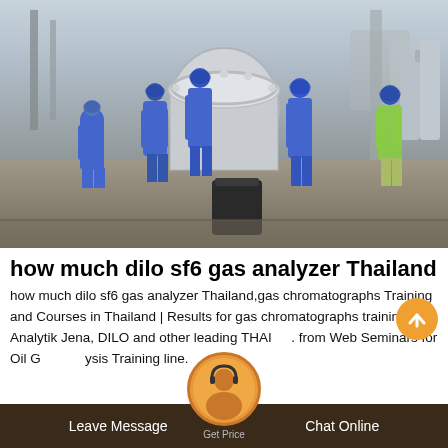[Figure (photo): Industrial workers in blue coveralls and blue hard hats working around large equipment/pipes at an oil and gas facility or construction site]
how much dilo sf6 gas analyzer Thailand
how much dilo sf6 gas analyzer Thailand,gas chromatographs Training and Courses in Thailand | Results for gas chromatographs training from Analytik Jena, DILO and other leading THAILAND. from Web Seminars for Oil Gas Analysis Training line.
Leave Message | Get Price | Chat Online